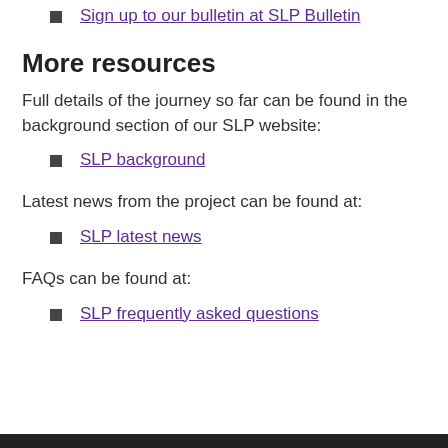Sign up to our bulletin at SLP Bulletin
More resources
Full details of the journey so far can be found in the background section of our SLP website:
SLP background
Latest news from the project can be found at:
SLP latest news
FAQs can be found at:
SLP frequently asked questions